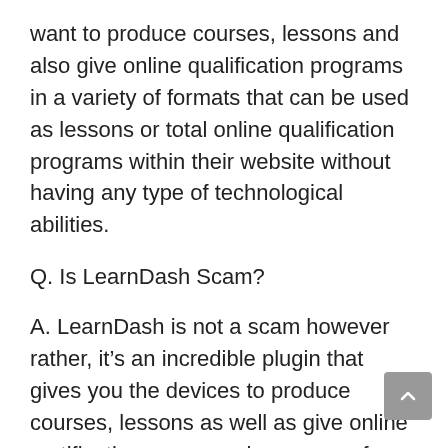want to produce courses, lessons and also give online qualification programs in a variety of formats that can be used as lessons or total online qualification programs within their website without having any type of technological abilities.
Q. Is LearnDash Scam?
A. LearnDash is not a scam however rather, it’s an incredible plugin that gives you the devices to produce courses, lessons as well as give online certification programs in a range of formats without having any kind of technical abilities needed.